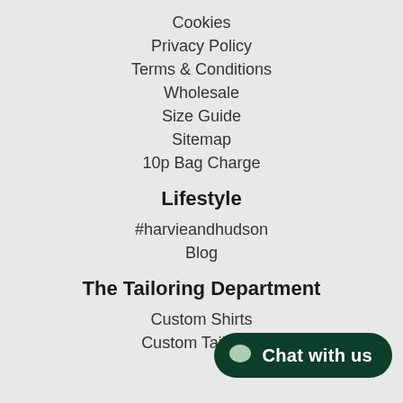Cookies
Privacy Policy
Terms & Conditions
Wholesale
Size Guide
Sitemap
10p Bag Charge
Lifestyle
#harvieandhudson
Blog
The Tailoring Department
Custom Shirts
Custom Tailoring
[Figure (infographic): Chat with us button overlay in dark green with speech bubble icon]